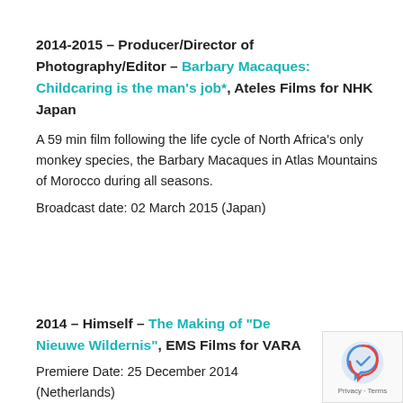2014-2015 – Producer/Director of Photography/Editor – Barbary Macaques: Childcaring is the man's job*, Ateles Films for NHK Japan
A 59 min film following the life cycle of North Africa's only monkey species, the Barbary Macaques in Atlas Mountains of Morocco during all seasons.
Broadcast date: 02 March 2015 (Japan)
2014 – Himself – The Making of "De Nieuwe Wildernis", EMS Films for VARA
Premiere Date: 25 December 2014 (Netherlands)